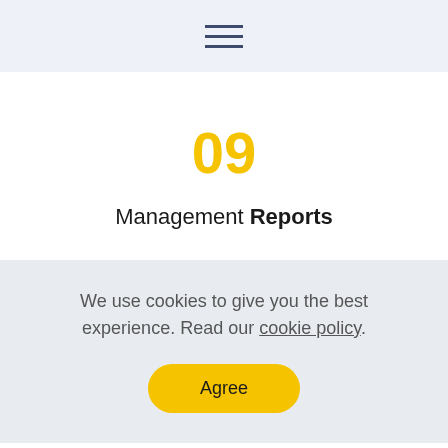☰
09
Management Reports
We use cookies to give you the best experience. Read our cookie policy.
Agree